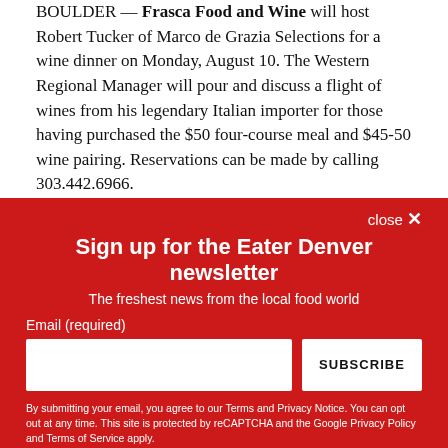BOULDER — Frasca Food and Wine will host Robert Tucker of Marco de Grazia Selections for a wine dinner on Monday, August 10. The Western Regional Manager will pour and discuss a flight of wines from his legendary Italian importer for those having purchased the $50 four-course meal and $45-50 wine pairing. Reservations can be made by calling 303.442.6966.
close ×
Sign up for the Eater Denver newsletter
The freshest news from the local food world
Email (required)
SUBSCRIBE
By submitting your email, you agree to our Terms and Privacy Notice. You can opt out at any time. This site is protected by reCAPTCHA and the Google Privacy Policy and Terms of Service apply.